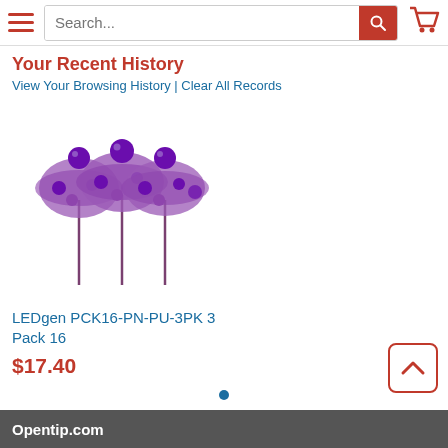Search...
Your Recent History
View Your Browsing History | Clear All Records
[Figure (photo): Three purple decorative Christmas tree picks with purple ball ornaments on stems]
LEDgen PCK16-PN-PU-3PK 3 Pack 16
$17.40
Opentip.com